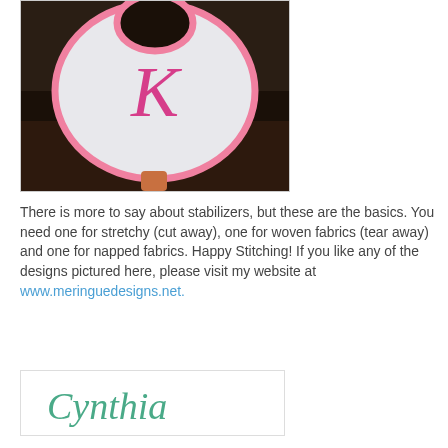[Figure (photo): A white baby bib with pink border trim and a pink embroidered monogram letter K in cursive script, photographed against a dark background.]
There is more to say about stabilizers, but these are the basics. You need one for stretchy (cut away), one for woven fabrics (tear away) and one for napped fabrics. Happy Stitching! If you like any of the designs pictured here, please visit my website at www.meringuedesigns.net.
[Figure (illustration): Handwritten cursive signature reading 'Cynthia' in teal/green ink inside a white bordered box.]
3 comments:
Friday, March 16, 2012
Bread IS Life